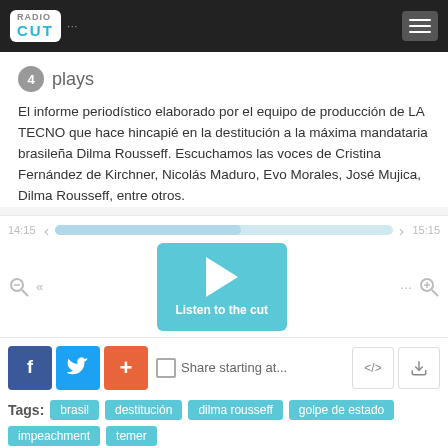RadioCut
4 plays
El informe periodístico elaborado por el equipo de producción de LA TECNO que hace hincapié en la destitución a la máxima mandataria brasileña Dilma Rousseff. Escuchamos las voces de Cristina Fernández de Kirchner, Nicolás Maduro, Evo Morales, José Mujica, Dilma Rousseff, entre otros.
[Figure (other): Audio player with timeline showing 14:15 to 15:15, play button labeled 'Listen to the cut']
Share starting at...
Tags: brasil  destitución  dilma rousseff  golpe de estado  impeachment  temer